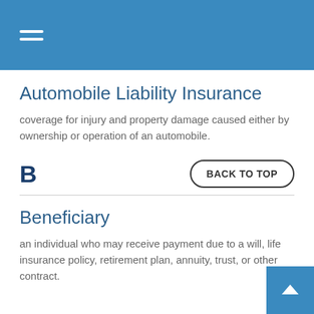Automobile Liability Insurance
coverage for injury and property damage caused either by ownership or operation of an automobile.
B
Beneficiary
an individual who may receive payment due to a will, life insurance policy, retirement plan, annuity, trust, or other contract.